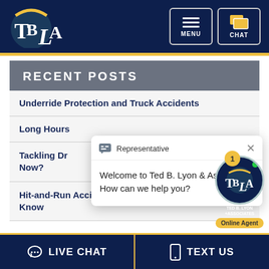[Figure (logo): TBLA law firm logo - Ted B. Lyon & Associates initials on dark blue/teal circular background with yellow accent]
[Figure (screenshot): Menu and Chat navigation buttons in top right header]
RECENT POSTS
Underride Protection and Truck Accidents
Long Hours...
Tackling Dr... Now?
Hit-and-Run Accidents: 2 Things You Should Know
[Figure (screenshot): Chat popup dialog: Representative - Welcome to Ted B. Lyon & Associates! How can we help you?]
[Figure (logo): Ted B. Lyon Associates chat widget with badge showing 1 notification and Online Agent label]
LIVE CHAT
TEXT US